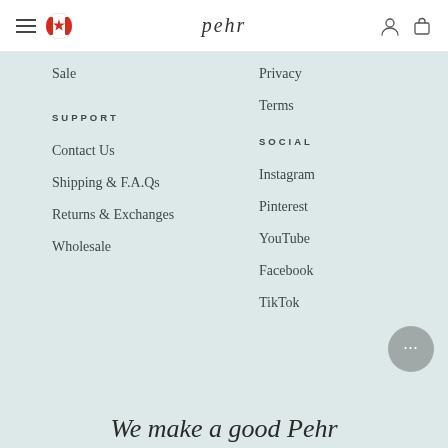pehr — navigation header with hamburger menu, Canadian flag, logo, user icon, bag icon
Sale
Privacy
Terms
SUPPORT
SOCIAL
Contact Us
Instagram
Shipping & F.A.Qs
Pinterest
Returns & Exchanges
YouTube
Wholesale
Facebook
TikTok
We make a good Pehr